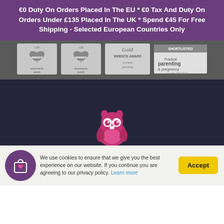€0 Duty On Orders Placed In The EU * €0 Tax And Duty On Orders Under £135 Placed In The UK * Spend €45 For Free Shipping - Selected European Countries Only
[Figure (logo): Four award badges: two LDI Winner heart-shaped badges, a Gold Website Award badge, and a Practical Parenting & Pregnancy Shortlisted badge (Awards 2012/2013)]
[Figure (logo): Pink/magenta cartoon owl logo for Poco Nido]
© Copyright Poco Nido Limited 2015-2020.
We use cookies to ensure that we give you the best experience on our website. If you continue you are agreeing to our privacy policy. Learn more